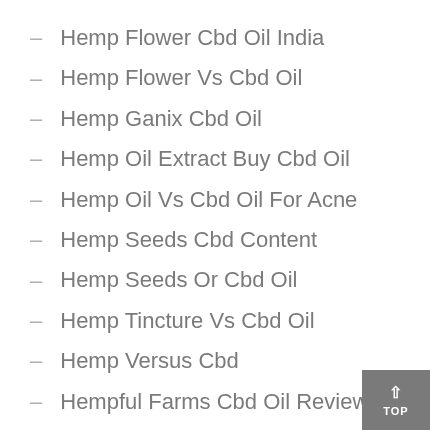Hemp Flower Cbd Oil India
Hemp Flower Vs Cbd Oil
Hemp Ganix Cbd Oil
Hemp Oil Extract Buy Cbd Oil
Hemp Oil Vs Cbd Oil For Acne
Hemp Seeds Cbd Content
Hemp Seeds Or Cbd Oil
Hemp Tincture Vs Cbd Oil
Hemp Versus Cbd
Hempful Farms Cbd Oil Review